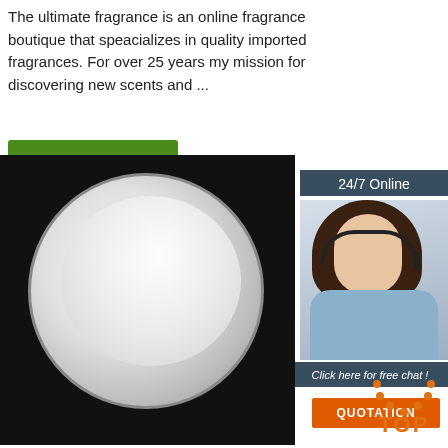The ultimate fragrance is an online fragrance boutique that speacializes in quality imported fragrances. For over 25 years my mission for discovering new scents and ...
[Figure (other): Green 'Get Price' button]
[Figure (other): Online chat widget showing '24/7 Online', a woman with headset, 'Click here for free chat!' text, and orange QUOTATION button]
[Figure (photo): White powder in a petri dish on a black background, with a product label below showing Inner Mongolia Xinhong Biotech Company Limited in Chinese and English]
[Figure (logo): TOP logo with orange arc dots above orange text 'TOP']